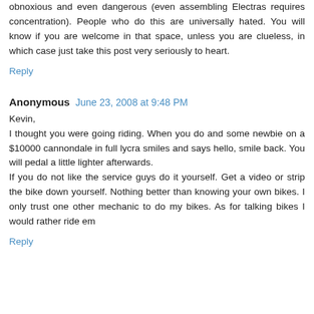obnoxious and even dangerous (even assembling Electras requires concentration). People who do this are universally hated. You will know if you are welcome in that space, unless you are clueless, in which case just take this post very seriously to heart.
Reply
Anonymous  June 23, 2008 at 9:48 PM
Kevin,
I thought you were going riding. When you do and some newbie on a $10000 cannondale in full lycra smiles and says hello, smile back. You will pedal a little lighter afterwards.
If you do not like the service guys do it yourself. Get a video or strip the bike down yourself. Nothing better than knowing your own bikes. I only trust one other mechanic to do my bikes. As for talking bikes I would rather ride em
Reply